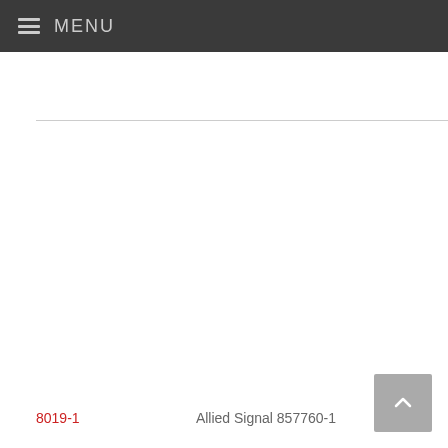MENU
8019-1   Allied Signal 857760-1